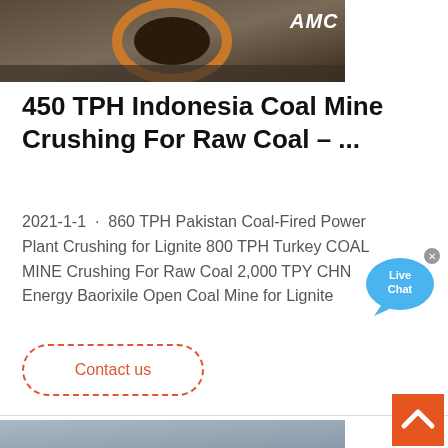[Figure (photo): Industrial machinery, appears to be a large crusher or mill component with circular ring structure, photographed in a warehouse/factory setting. AMC logo visible in top right.]
450 TPH Indonesia Coal Mine Crushing For Raw Coal – ...
2021-1-1 · 860 TPH Pakistan Coal-Fired Power Plant Crushing for Lignite 800 TPH Turkey COAL MINE Crushing For Raw Coal 2,000 TPY CHN Energy Baorixile Open Coal Mine for Lignite
Contact us
[Figure (photo): Open-pit mining operation with multiple excavators working at a coal mine site. Rocky terrain visible with large yellow excavating machinery.]